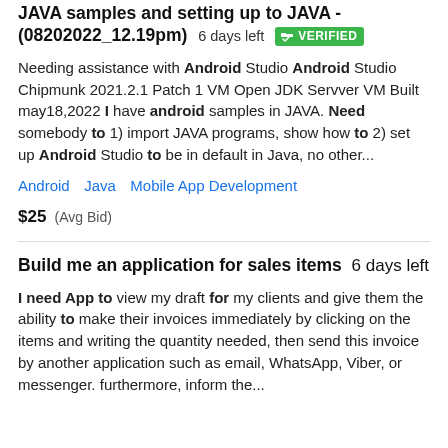JAVA samples and setting up to JAVA - (08202022_12.19pm)  6 days left  VERIFIED
Needing assistance with Android Studio Android Studio Chipmunk 2021.2.1 Patch 1 VM Open JDK Servver VM Built may18,2022 I have android samples in JAVA. Need somebody to 1) import JAVA programs, show how to 2) set up Android Studio to be in default in Java, no other...
Android   Java   Mobile App Development
$25  (Avg Bid)
Build me an application for sales items  6 days left
I need App to view my draft for my clients and give them the ability to make their invoices immediately by clicking on the items and writing the quantity needed, then send this invoice by another application such as email, WhatsApp, Viber, or messenger. furthermore, inform the...